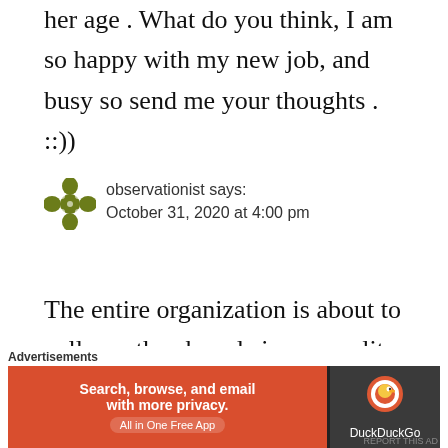her age . What do you think, I am so happy with my new job, and busy so send me your thoughts . ::))
observationist says: October 31, 2020 at 4:00 pm
The entire organization is about to collapse the charade is up , reality knocks . The false self
Advertisements
[Figure (screenshot): DuckDuckGo advertisement banner: orange background on left with text 'Search, browse, and email with more privacy. All in One Free App', dark background on right with DuckDuckGo logo and name.]